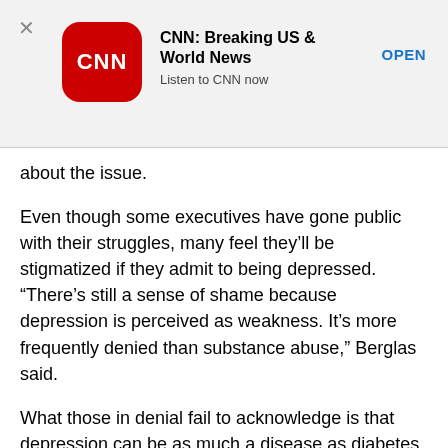[Figure (other): CNN app advertisement banner with CNN logo (red rounded square), app name 'CNN: Breaking US & World News', tagline 'Listen to CNN now', and an 'OPEN' button. A close (X) button is in the top left.]
about the issue.
Even though some executives have gone public with their struggles, many feel they’ll be stigmatized if they admit to being depressed. “There’s still a sense of shame because depression is perceived as weakness. It’s more frequently denied than substance abuse,” Berglas said.
What those in denial fail to acknowledge is that depression can be as much a disease as diabetes is, and may require help from drugs and psychotherapy. “You wouldn’t eschew the use of insulin, so why eschew psychotherapy?” Berglas notes.
When a CEO or other executive starts to exhibit